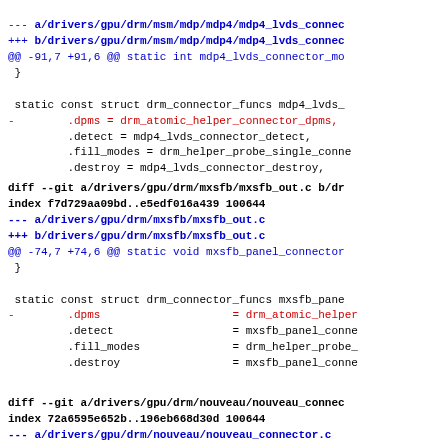--- a/drivers/gpu/drm/msm/mdp/mdp4/mdp4_lvds_connec
+++ b/drivers/gpu/drm/msm/mdp/mdp4/mdp4_lvds_connec
@@ -91,7 +91,6 @@ static int mdp4_lvds_connector_mo
 }

 static const struct drm_connector_funcs mdp4_lvds_
-        .dpms = drm_atomic_helper_connector_dpms,
         .detect = mdp4_lvds_connector_detect,
         .fill_modes = drm_helper_probe_single_conne
         .destroy = mdp4_lvds_connector_destroy,
diff --git a/drivers/gpu/drm/mxsfb/mxsfb_out.c b/dr
index f7d729aa09bd..e5edf016a439 100644
--- a/drivers/gpu/drm/mxsfb/mxsfb_out.c
+++ b/drivers/gpu/drm/mxsfb/mxsfb_out.c
@@ -74,7 +74,6 @@ static void mxsfb_panel_connector
 }

 static const struct drm_connector_funcs mxsfb_pane
-        .dpms                    = drm_atomic_helper
         .detect                  = mxsfb_panel_conne
         .fill_modes              = drm_helper_probe_
         .destroy                 = mxsfb_panel_conne
diff --git a/drivers/gpu/drm/nouveau/nouveau_connec
index 72a6595e652b..196eb668d30d 100644
--- a/drivers/gpu/drm/nouveau/nouveau_connector.c